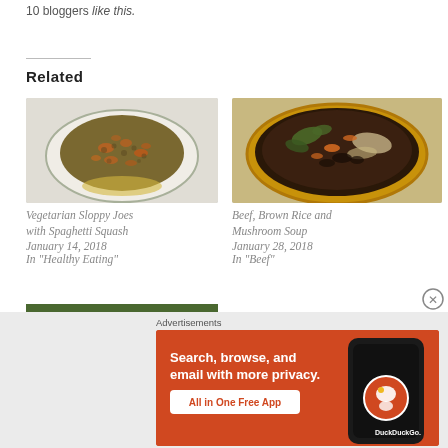10 bloggers like this.
Related
[Figure (photo): Bowl of vegetarian sloppy joe filling with lentils and carrots on spaghetti squash]
Vegetarian Sloppy Joes with Spaghetti Squash
January 14, 2018
In "Healthy Eating"
[Figure (photo): Bowl of beef, brown rice and mushroom soup with vegetables in a yellow-rimmed bowl]
Beef, Brown Rice and Mushroom Soup
January 28, 2018
In "Beef"
[Figure (photo): Partial image of dish with green beans/vegetables]
Advertisements
[Figure (screenshot): DuckDuckGo advertisement banner: Search, browse, and email with more privacy. All in One Free App. Shows DuckDuckGo logo on a smartphone against orange background.]